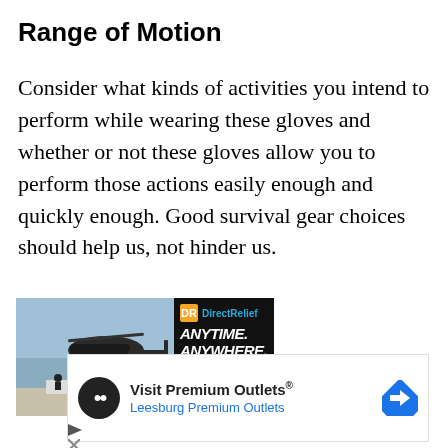Range of Motion
Consider what kinds of activities you intend to perform while wearing these gloves and whether or not these gloves allow you to perform those actions easily enough and quickly enough. Good survival gear choices should help us, not hinder us.
[Figure (photo): Advertisement banner showing a helicopter on a tarmac with people loading supplies, alongside a Direct Relief ad with text ANYTIME. ANYWHERE. and a logo]
[Figure (infographic): Advertisement for Visit Premium Outlets - Leesburg Premium Outlets with a circular logo icon and blue navigation arrow icon]